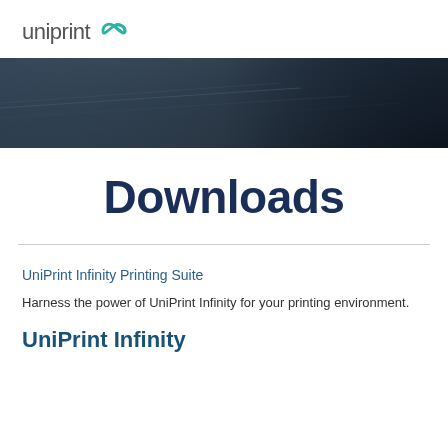uniprint ∞
[Figure (photo): Dark abstract hero banner image with diagonal lines and dark blue/grey tones]
Downloads
UniPrint Infinity Printing Suite
Harness the power of UniPrint Infinity for your printing environment.
UniPrint Infinity